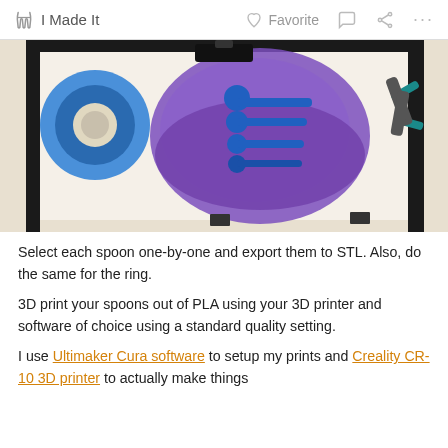I Made It   Favorite   ...
[Figure (photo): A 3D printer bed with blue spoons printed on a purple adhesive mat, tape roll on the left, pliers on the right.]
Select each spoon one-by-one and export them to STL. Also, do the same for the ring.
3D print your spoons out of PLA using your 3D printer and software of choice using a standard quality setting.
I use Ultimaker Cura software to setup my prints and Creality CR-10 3D printer to actually make things